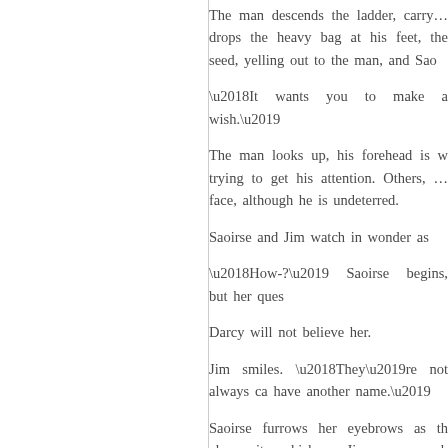The man descends the ladder, carry… drops the heavy bag at his feet, the… seed, yelling out to the man, and Sao…
‘It wants you to make a wish.’
The man looks up, his forehead is w… trying to get his attention. Others, … face, although he is undeterred.
Saoirse and Jim watch in wonder as…
‘How-?’ Saoirse begins, but her ques…
Darcy will not believe her.
Jim smiles. ‘They’re not always ca… have another name.’
Saoirse furrows her eyebrows as th… cleans its whiskers. Jim squeezes h… smoothes the hairs down, taking eac…